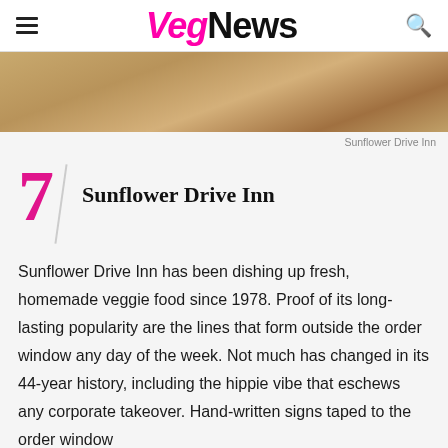VegNews
[Figure (photo): Close-up photo of a wooden surface, likely a table or sign, with wood grain texture visible]
Sunflower Drive Inn
7 / Sunflower Drive Inn
Sunflower Drive Inn has been dishing up fresh, homemade veggie food since 1978. Proof of its long-lasting popularity are the lines that form outside the order window any day of the week. Not much has changed in its 44-year history, including the hippie vibe that eschews any corporate takeover. Hand-written signs taped to the order window